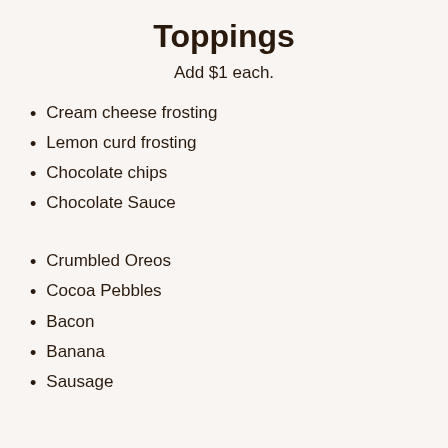Toppings
Add $1 each.
Cream cheese frosting
Lemon curd frosting
Chocolate chips
Chocolate Sauce
Crumbled Oreos
Cocoa Pebbles
Bacon
Banana
Sausage